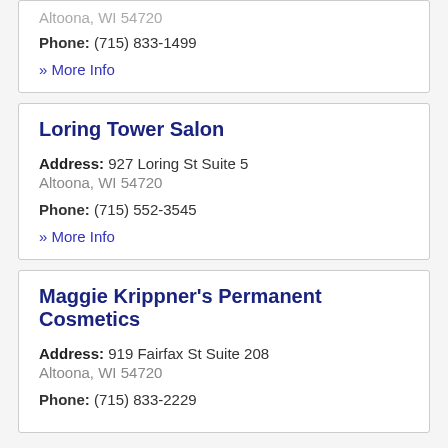Altoona, WI 54720
Phone: (715) 833-1499
» More Info
Loring Tower Salon
Address: 927 Loring St Suite 5
Altoona, WI 54720
Phone: (715) 552-3545
» More Info
Maggie Krippner's Permanent Cosmetics
Address: 919 Fairfax St Suite 208
Altoona, WI 54720
Phone: (715) 833-2229